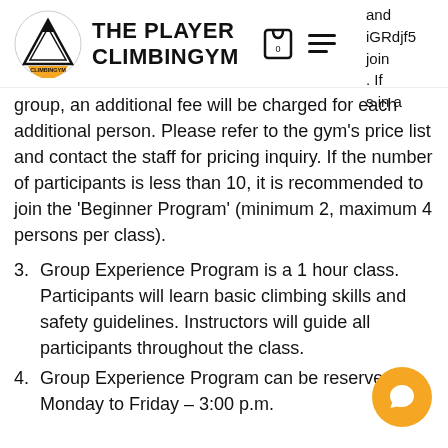THE PLAYER CLIMBINGYM
and iGRdjf5 join . If s in a group, an additional fee will be charged for each additional person. Please refer to the gym's price list and contact the staff for pricing inquiry. If the number of participants is less than 10, it is recommended to join the 'Beginner Program' (minimum 2, maximum 4 persons per class).
3. Group Experience Program is a 1 hour class. Participants will learn basic climbing skills and safety guidelines. Instructors will guide all participants throughout the class.
4. Group Experience Program can be reserved at: Monday to Friday – 3:00 p.m.